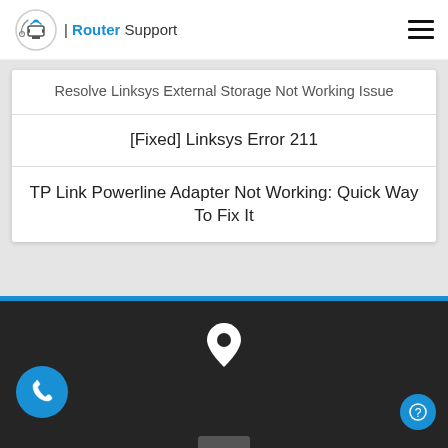Router Support
Resolve Linksys External Storage Not Working Issue
[Fixed] Linksys Error 211
TP Link Powerline Adapter Not Working: Quick Way To Fix It
[Figure (infographic): Dark footer section with white location pin icon, blue phone FAB button on bottom left, blue help/question FAB on bottom right, and partially visible element at bottom center]